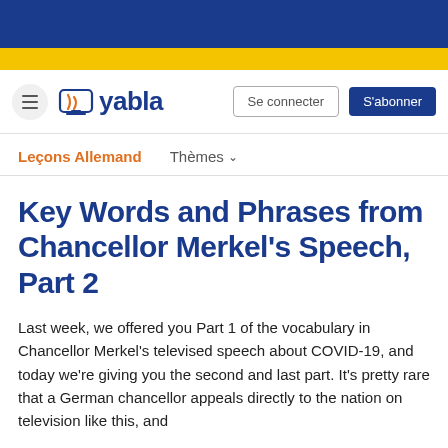Yabla navigation bar with logo, Se connecter and S'abonner buttons
Leçons Allemand   Thèmes ∨
Key Words and Phrases from Chancellor Merkel's Speech, Part 2
Last week, we offered you Part 1 of the vocabulary in Chancellor Merkel's televised speech about COVID-19, and today we're giving you the second and last part. It's pretty rare that a German chancellor appeals directly to the nation on television like this, and